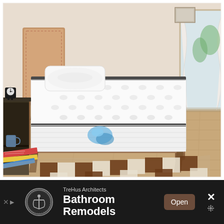[Figure (photo): A single bed with a wooden frame (walnut-tone) and a white quilted mattress with dark grey border trim and a blue logo/label on the side, set in a bedroom with warm beige walls, hardwood floors, a brown checkered rug, a bedside table with a clock, a mug, and some magazines stacked on the floor. A pillow rests on top of the mattress. A window with sheer white curtains is visible in the background.]
[Figure (screenshot): An advertisement banner at the bottom of the screen. Dark/black background. Left side shows a circular badge logo for TreHus Architects. Text reads 'TreHus Architects' in grey above 'Bathroom Remodels' in large white bold text. A brown 'Open' button is to the right of the text. An X close button is at the far right. Bottom-left has an X and play/ad indicator icon.]